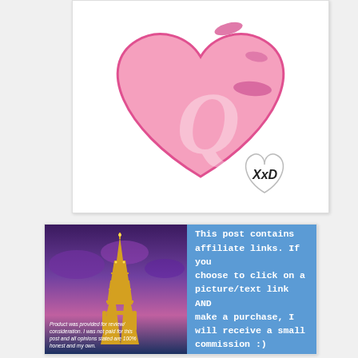[Figure (illustration): Pink heart illustration with kiss/lip marks on it and a stylized Q letter inside, plus a small heart shape with 'XxD' handwritten text at the bottom right]
[Figure (photo): Eiffel Tower at twilight/purple sky with overlay disclaimer text: 'Product was provided for review/consideration. I was not paid for this post and all opinions stated are 100% honest and my own.']
This post contains affiliate links. If you choose to click on a picture/text link AND make a purchase, I will receive a small commission :)